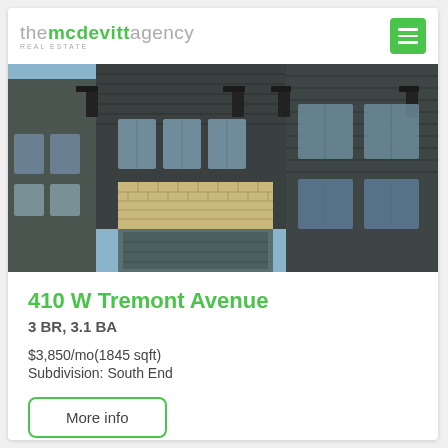themcdevittagency REAL ESTATE
[Figure (photo): Exterior photo of a modern multi-story townhome with dark horizontal siding, brick accents, large windows, and blue sky with trees in background.]
410 W Tremont Avenue
3 BR, 3.1 BA
$3,850/mo(1845 sqft)
Subdivision: South End
More info
My Townhome | MLS # 3895490 | Available